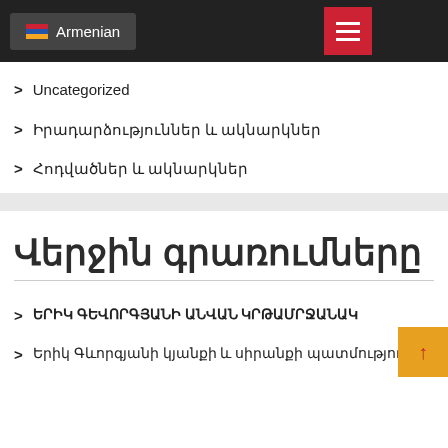Armenian
Uncategorized
Իրադարձություններ և ակնարկներ
Հոդվածներ և ակնարկներ
Վերջին գրառումները
ԵՐԻԿ ԳԵՎՈՐԳՅԱՆԻ ԱՆՎԱՆ ԿՐԹԱՄՐՋԱՆԱԿ
Երիկ Գևորգյանի կյանքի և սիրանքի պատմությունը